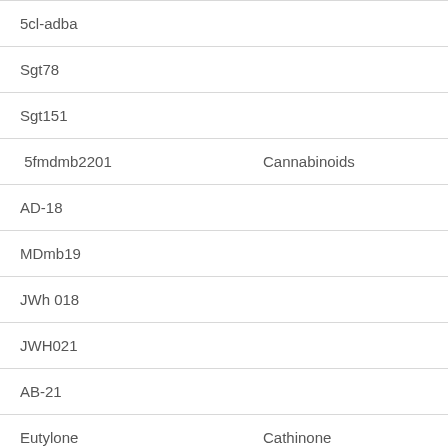| Substance | Category |
| --- | --- |
| 5cl-adba |  |
| Sgt78 |  |
| Sgt151 |  |
| 5fmdmb2201 | Cannabinoids |
| AD-18 |  |
| MDmb19 |  |
| JWh 018 |  |
| JWH021 |  |
| AB-21 |  |
| Eutylone | Cathinone |